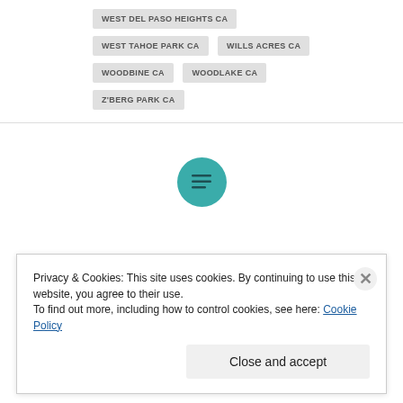WEST DEL PASO HEIGHTS CA
WEST TAHOE PARK CA
WILLS ACRES CA
WOODBINE CA
WOODLAKE CA
Z'BERG PARK CA
[Figure (other): Teal circular button with horizontal lines icon (menu/list icon)]
Privacy & Cookies: This site uses cookies. By continuing to use this website, you agree to their use.
To find out more, including how to control cookies, see here: Cookie Policy
Close and accept